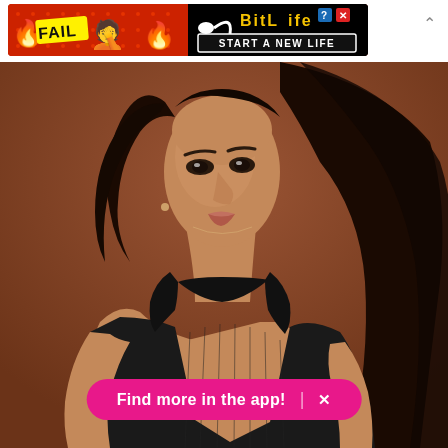[Figure (screenshot): Advertisement banner for BitLife app showing 'FAIL' text with emoji, flames, and 'START A NEW LIFE' tagline on black/red background]
[Figure (photo): A woman with long dark hair wearing a black ribbed tank top, photographed against a warm brown/terracotta background, looking upward slightly]
Find more in the app!  ×